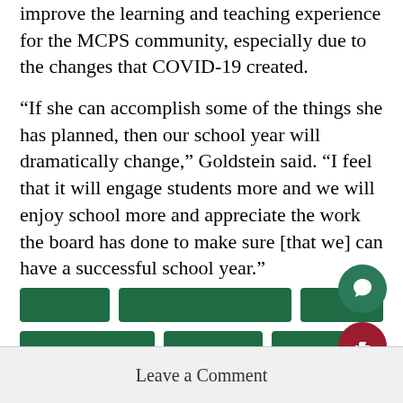improve the learning and teaching experience for the MCPS community, especially due to the changes that COVID-19 created.
“If she can accomplish some of the things she has planned, then our school year will dramatically change,” Goldstein said. “I feel that it will engage students more and we will enjoy school more and appreciate the work the board has done to make sure [that we] can have a successful school year.”
[Figure (other): Two rows of dark green rounded rectangular tag/label placeholders]
[Figure (other): Teal circular chat/comment button icon with speech bubble symbol]
[Figure (other): Dark red circular like/thumbs-up button icon]
Leave a Comment